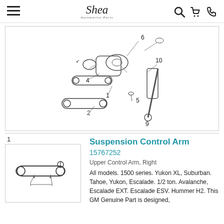Shea Automotive Parts — navigation header with hamburger menu, logo, search, cart, phone icons
[Figure (engineering-diagram): Exploded view engineering diagram of a vehicle suspension assembly. Parts are numbered 1, 2, 4, 5, 6, 9, 10. Shows control arms, knuckle, shock absorber, and related hardware with leader lines.]
1
[Figure (engineering-diagram): Close-up diagram of part number 1: Suspension Control Arm (Upper Control Arm, Right), showing the arm with two circular end fittings and arrows indicating the arm body.]
Suspension Control Arm
15767252
Upper Control Arm, Right
All models. 1500 series. Yukon XL, Suburban. Tahoe, Yukon, Escalade. 1/2 ton. Avalanche, Escalade EXT. Escalade ESV. Hummer H2. This GM Genuine Part is designed,